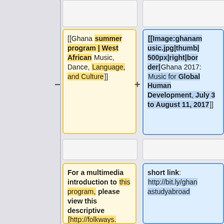[[Ghana summer program | West African Music, Dance, Language, and Culture]]
[[Image:ghanamusic.jpg|thumb|500px|right|border|Ghana 2017: Music for Global Human Development, July 3 to August 11, 2017]]
For a multimedia introduction to this program, please view this descriptive [http://folkways.tapor.ualberta.ca/~michaelf/Ghana_summer_07
short link: http://bit.ly/ghastudyabroad